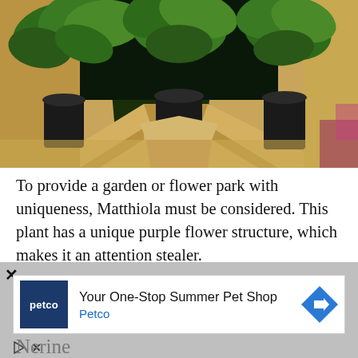[Figure (photo): Photo of green plants in black pots sitting inside a wooden raised garden bed with light-colored wooden planks forming a corner joint.]
To provide a garden or flower park with uniqueness, Matthiola must be considered. This plant has a unique purple flower structure, which makes it an attention stealer.
Facts:
This plant came from the mustard family of
[Figure (other): Advertisement banner from Petco: 'Your One-Stop Summer Pet Shop' with Petco logo and navigation arrow icon. Close (X) button visible. Bottom shows play and close icons. Partially overlays page content.]
Nerine